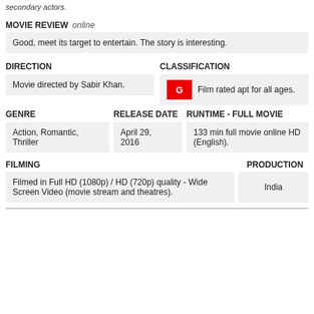secondary actors.
MOVIE REVIEW   online
Good, meet its target to entertain. The story is interesting.
DIRECTION
CLASSIFICATION
Movie directed by Sabir Khan.
G   Film rated apt for all ages.
GENRE
RELEASE DATE
RUNTIME - FULL MOVIE
Action, Romantic, Thriller
April 29, 2016
133 min full movie online HD (English).
FILMING
PRODUCTION
Filmed in Full HD (1080p) / HD (720p) quality - Wide Screen Video (movie stream and theatres).
India